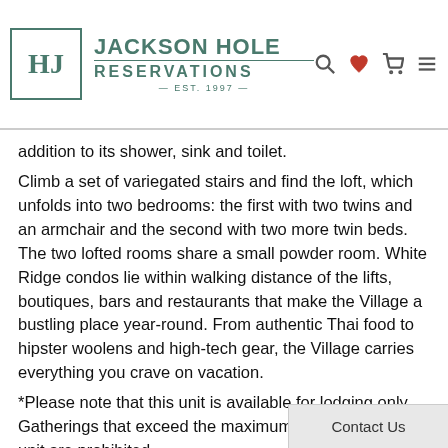[Figure (logo): Jackson Hole Reservations logo with HJH monogram in teal square border, navigation icons (search, heart, cart, menu) and red phone button]
addition to its shower, sink and toilet. Climb a set of variegated stairs and find the loft, which unfolds into two bedrooms: the first with two twins and an armchair and the second with two more twin beds. The two lofted rooms share a small powder room. White Ridge condos lie within walking distance of the lifts, boutiques, bars and restaurants that make the Village a bustling place year-round. From authentic Thai food to hipster woolens and high-tech gear, the Village carries everything you crave on vacation. *Please note that this unit is available for lodging only. Gatherings that exceed the maximum occupancy of this unit are prohibited. Mountain weather is variable and unpredictable. Resort conditions and ski access may be weather and snow dependent.